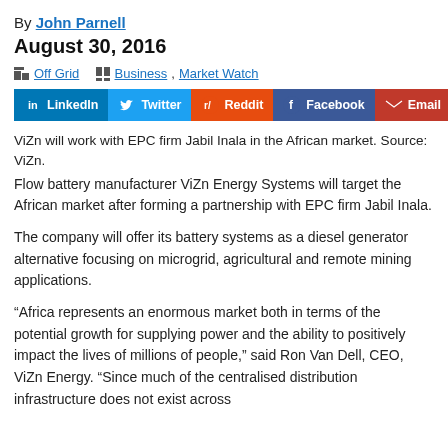By John Parnell
August 30, 2016
Off Grid  Business, Market Watch
LinkedIn  Twitter  Reddit  Facebook  Email
ViZn will work with EPC firm Jabil Inala in the African market. Source: ViZn.
Flow battery manufacturer ViZn Energy Systems will target the African market after forming a partnership with EPC firm Jabil Inala.
The company will offer its battery systems as a diesel generator alternative focusing on microgrid, agricultural and remote mining applications.
&ldquo;Africa represents an enormous market both in terms of the potential growth for supplying power and the ability to positively impact the lives of millions of people,&rdquo; said Ron Van Dell, CEO, ViZn Energy. &ldquo;Since much of the centralised distribution infrastructure does not exist across